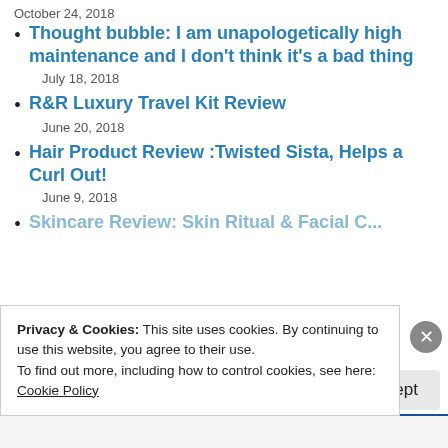October 24, 2018
Thought bubble: I am unapologetically high maintenance and I don't think it's a bad thing
July 18, 2018
R&R Luxury Travel Kit Review
June 20, 2018
Hair Product Review :Twisted Sista, Helps a Curl Out!
June 9, 2018
[truncated link title]
Privacy & Cookies: This site uses cookies. By continuing to use this website, you agree to their use.
To find out more, including how to control cookies, see here:
Cookie Policy
Close and accept